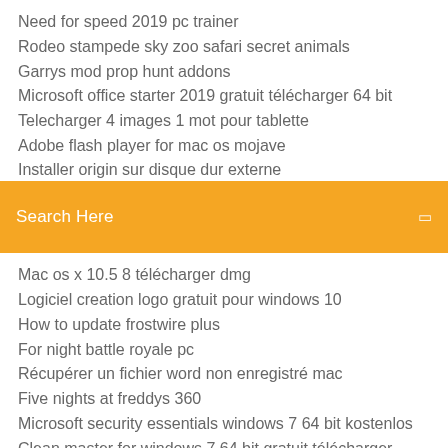Need for speed 2019 pc trainer
Rodeo stampede sky zoo safari secret animals
Garrys mod prop hunt addons
Microsoft office starter 2019 gratuit télécharger 64 bit
Telecharger 4 images 1 mot pour tablette
Adobe flash player for mac os mojave
Installer origin sur disque dur externe
Search Here
Mac os x 10.5 8 télécharger dmg
Logiciel creation logo gratuit pour windows 10
How to update frostwire plus
For night battle royale pc
Récupérer un fichier word non enregistré mac
Five nights at freddys 360
Microsoft security essentials windows 7 64 bit kostenlos
Clean master for windows 7 64 bit gratuit télécharger
Les meilleurs logiciels gratuits et indispensables pour windows